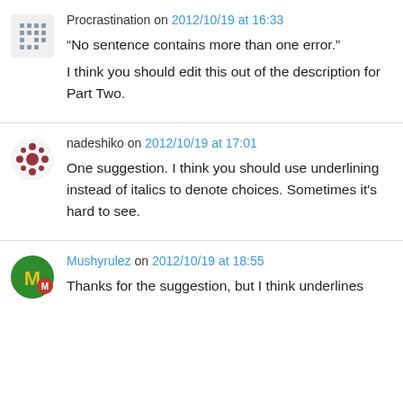Procrastination on 2012/10/19 at 16:33

“No sentence contains more than one error.”

I think you should edit this out of the description for Part Two.
nadeshiko on 2012/10/19 at 17:01

One suggestion. I think you should use underlining instead of italics to denote choices. Sometimes it’s hard to see.
Mushyrulez on 2012/10/19 at 18:55

Thanks for the suggestion, but I think underlines